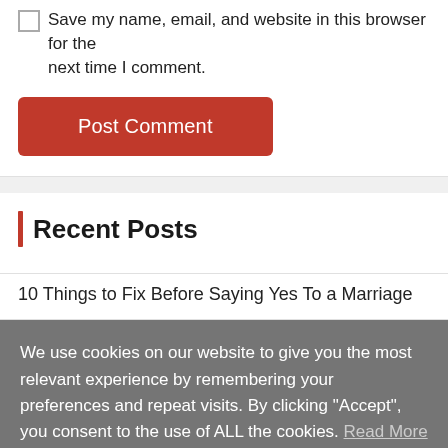Save my name, email, and website in this browser for the next time I comment.
Post Comment
Recent Posts
10 Things to Fix Before Saying Yes To a Marriage
We use cookies on our website to give you the most relevant experience by remembering your preferences and repeat visits. By clicking “Accept”, you consent to the use of ALL the cookies. Read More
ACCEPT
English